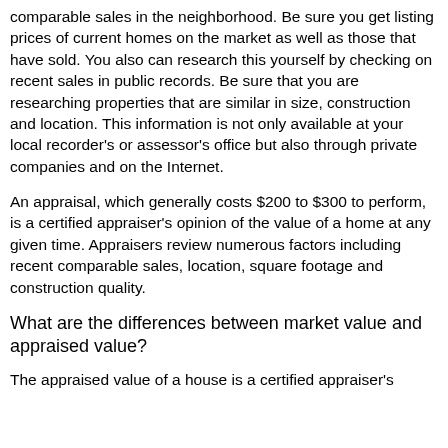comparable sales in the neighborhood. Be sure you get listing prices of current homes on the market as well as those that have sold. You also can research this yourself by checking on recent sales in public records. Be sure that you are researching properties that are similar in size, construction and location. This information is not only available at your local recorder's or assessor's office but also through private companies and on the Internet.
An appraisal, which generally costs $200 to $300 to perform, is a certified appraiser's opinion of the value of a home at any given time. Appraisers review numerous factors including recent comparable sales, location, square footage and construction quality.
What are the differences between market value and appraised value?
The appraised value of a house is a certified appraiser's